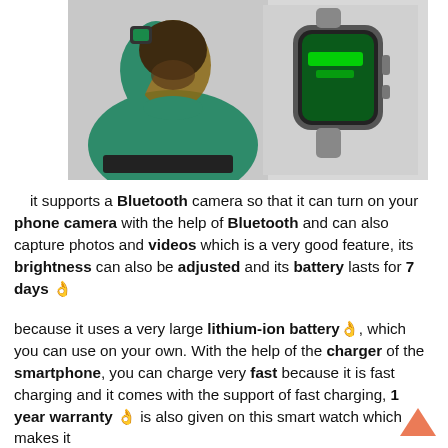[Figure (photo): Photo of a man in a teal/green turtleneck sweater wearing a smartwatch on his wrist, with a product shot of the smartwatch floating to the right showing its screen and grey strap.]
it supports a Bluetooth camera so that it can turn on your phone camera with the help of Bluetooth and can also capture photos and videos which is a very good feature, its brightness can also be adjusted and its battery lasts for 7 days 👌
because it uses a very large lithium-ion battery 👌, which you can use on your own. With the help of the charger of the smartphone, you can charge very fast because it is fast charging and it comes with the support of fast charging, 1 year warranty 👌 is also given on this smart watch which makes it